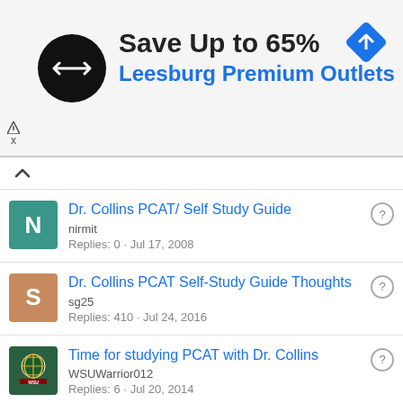[Figure (infographic): Advertisement banner: black circular logo with double arrow, 'Save Up to 65%' in bold black text, 'Leesburg Premium Outlets' in blue, blue diamond navigation icon in top-right corner, ad marker triangle and X in bottom-left]
Dr. Collins PCAT/ Self Study Guide
nirmit
Replies: 0 · Jul 17, 2008
Dr. Collins PCAT Self-Study Guide Thoughts
sg25
Replies: 410 · Jul 24, 2016
Time for studying PCAT with Dr. Collins
WSUWarrior012
Replies: 6 · Jul 20, 2014
Dr. Collins Self Study vs. Dr. Collins Live Study ( Classes )
Brocampo
Replies: 4 · Jun 25, 2018